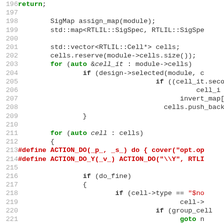[Figure (screenshot): Source code listing showing lines 196-225 of a C++ file. Line numbers in gray on the left, code in green, red, and black monospace font. Contains keywords like for, auto, if, goto, #define in bold green or red, string literals in red, and regular identifiers in black/dark.]